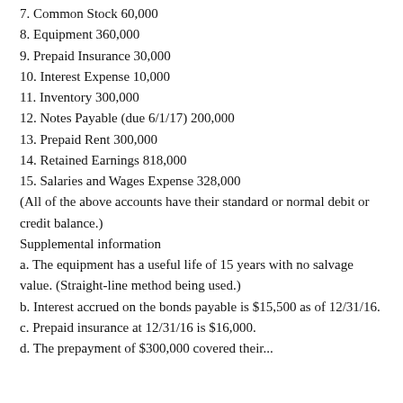7. Common Stock 60,000
8. Equipment 360,000
9. Prepaid Insurance 30,000
10. Interest Expense 10,000
11. Inventory 300,000
12. Notes Payable (due 6/1/17) 200,000
13. Prepaid Rent 300,000
14. Retained Earnings 818,000
15. Salaries and Wages Expense 328,000
(All of the above accounts have their standard or normal debit or credit balance.)
Supplemental information
a. The equipment has a useful life of 15 years with no salvage value. (Straight-line method being used.)
b. Interest accrued on the bonds payable is $15,500 as of 12/31/16.
c. Prepaid insurance at 12/31/16 is $16,000.
d. The prepayment of $300,000 covered their...